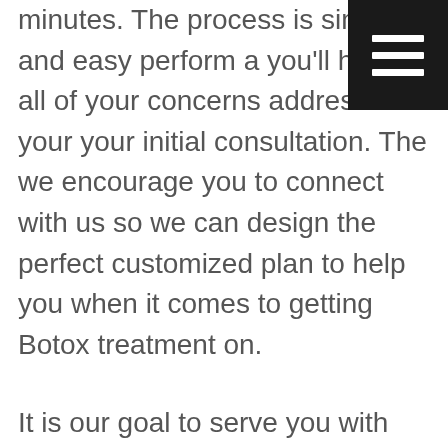[Figure (other): Black square menu/hamburger icon with three horizontal white lines, positioned in top-right corner]
minutes. The process is simple and easy perform a you'll have all of your concerns addressed your your initial consultation. The we encourage you to connect with us so we can design the perfect customized plan to help you when it comes to getting Botox treatment on.

It is our goal to serve you with friendly services and with patients. We definitely do listen. Finding a position that really is going to listen to your concerns and we give you could become answers is so important. Serve you're looking for people that really